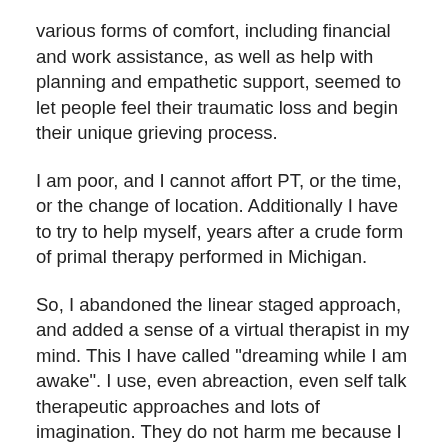various forms of comfort, including financial and work assistance, as well as help with planning and empathetic support, seemed to let people feel their traumatic loss and begin their unique grieving process.
I am poor, and I cannot affort PT, or the time, or the change of location. Additionally I have to try to help myself, years after a crude form of primal therapy performed in Michigan.
So, I abandoned the linear staged approach, and added a sense of a virtual therapist in my mind. This I have called "dreaming while I am awake". I use, even abreaction, even self talk therapeutic approaches and lots of imagination. They do not harm me because I don't emphasize any of them and I only seek a sense of comfort, a communication between how I feel and what helps me feel comfortable. This is similar to